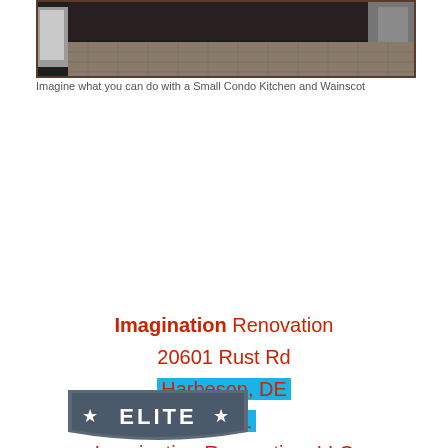[Figure (photo): Photo of a small condo kitchen with tile floor and wainscot, dark overhead view]
Imagine what you can do with a Small Condo Kitchen and Wainscot
Imagination Renovation
20601 Rust Rd
Harbeson, DE
19951
Imagination-Renovation, LLC
(302)727-8168

email:

PHILIMAGINE1@HOTMAIL.COM
[Figure (logo): Elite badge/seal logo with stars]